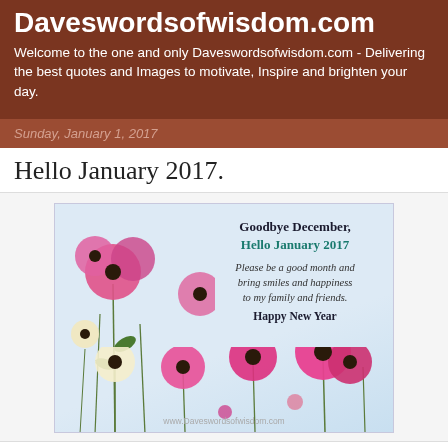Daveswordsofwisdom.com
Welcome to the one and only Daveswordsofwisdom.com - Delivering the best quotes and Images to motivate, Inspire and brighten your day.
Sunday, January 1, 2017
Hello January 2017.
[Figure (illustration): Greeting card image with pink flowers and text: Goodbye December, Hello January 2017. Please be a good month and bring smiles and happiness to my family and friends. Happy New Year. Watermark: www.Daveswordsofwisdom.com]
Goodbye December, Hello January 2017.